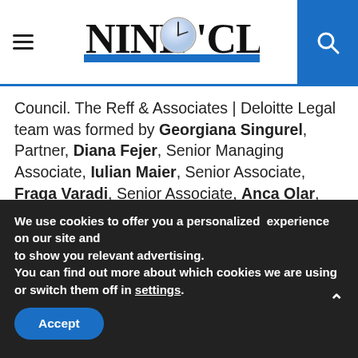Nine O'Clock – navigation header with hamburger menu, logo, and search button
Council. The Reff & Associates | Deloitte Legal team was formed by Georgiana Singurel, Partner, Diana Fejer, Senior Managing Associate, Iulian Maier, Senior Associate, Fraga Varadi, Senior Associate, Anca Olar, Associate, who provided transaction related assistance, Andreea Zaharia, Senior Associate, Florin Grumeza, Senior Associate, Gabriela Ilie, Senior Managing
We use cookies to offer you a personalized experience on our site and to show you relevant advertising. You can find out more about which cookies we are using or switch them off in settings.